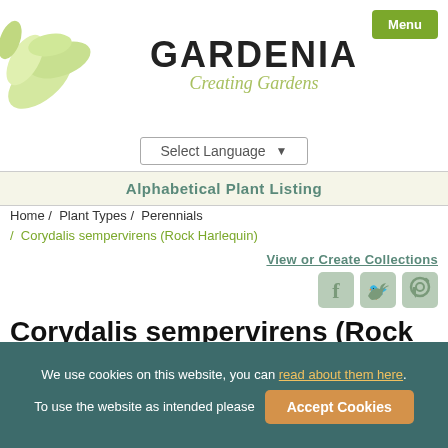[Figure (logo): Gardenia Creating Gardens logo with leaf illustration]
Select Language ▼
Alphabetical Plant Listing
Home / Plant Types / Perennials / Corydalis sempervirens (Rock Harlequin)
View or Create Collections
[Figure (illustration): Social media icons: Facebook, Twitter, Pinterest]
Corydalis sempervirens (Rock Harlequin)
Rock Harlequin, Pink Corydalis, Pale Corydalis, Capnoides sempervirens
We use cookies on this website, you can read about them here. To use the website as intended please Accept Cookies